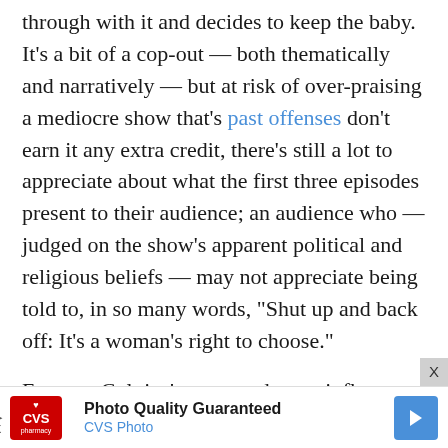through with it and decides to keep the baby. It's a bit of a cop-out — both thematically and narratively — but at risk of over-praising a mediocre show that's past offenses don't earn it any extra credit, there's still a lot to appreciate about what the first three episodes present to their audience; an audience who — judged on the show's apparent political and religious beliefs — may not appreciate being told to, in so many words, "Shut up and back off: It's a woman's right to choose."
For one, Colt isn't portrayed as an influencer. He's not convincing Heather to keep the baby in the waiting room. He doesn't guilt her into reconsidering, nor does he act out of his own self-interest. It appears he's taken his mother's words to heart, and here's where "The Ranch" proves how much we've underestimated its nuance over the past three
[Figure (other): CVS Photo advertisement banner at the bottom of the page with CVS logo, text 'Photo Quality Guaranteed' and 'CVS Photo', and a blue directional arrow icon.]